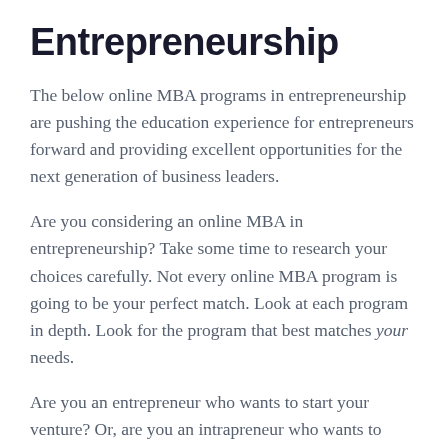Entrepreneurship
The below online MBA programs in entrepreneurship are pushing the education experience for entrepreneurs forward and providing excellent opportunities for the next generation of business leaders.
Are you considering an online MBA in entrepreneurship? Take some time to research your choices carefully. Not every online MBA program is going to be your perfect match. Look at each program in depth. Look for the program that best matches your needs.
Are you an entrepreneur who wants to start your venture? Or, are you an intrapreneur who wants to promote innovative product development from